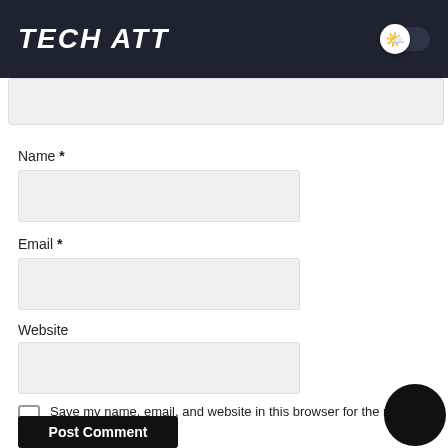TECH ATT
[Figure (screenshot): Partially visible comment textarea input box at top]
Name *
[Figure (screenshot): Name input text field (empty)]
Email *
[Figure (screenshot): Email input text field (empty)]
Website
[Figure (screenshot): Website input text field (empty)]
Save my name, email, and website in this browser for the next time I comment.
Post Comment